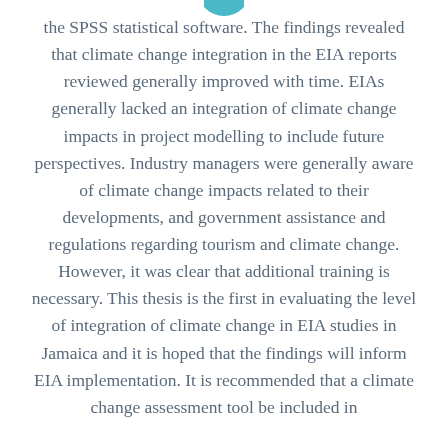[Figure (logo): Partial teal/blue circular logo at top center, partially cropped]
the SPSS statistical software. The findings revealed that climate change integration in the EIA reports reviewed generally improved with time. EIAs generally lacked an integration of climate change impacts in project modelling to include future perspectives. Industry managers were generally aware of climate change impacts related to their developments, and government assistance and regulations regarding tourism and climate change. However, it was clear that additional training is necessary. This thesis is the first in evaluating the level of integration of climate change in EIA studies in Jamaica and it is hoped that the findings will inform EIA implementation. It is recommended that a climate change assessment tool be included in